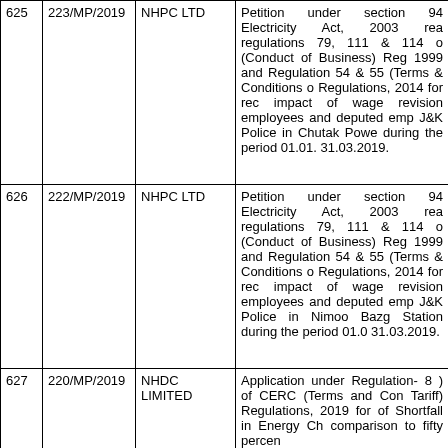| S.No. | Case No. | Party | Description |
| --- | --- | --- | --- |
| 625 | 223/MP/2019 | NHPC LTD | Petition under section 94 Electricity Act, 2003 rea regulations 79, 111 & 114 (Conduct of Business) Reg 1999 and Regulation 54 & 55 (Terms & Conditions o Regulations, 2014 for rec impact of wage revision employees and deputed emp J&K Police in Chutak Powe during the period 01.01. 31.03.2019. |
| 626 | 222/MP/2019 | NHPC LTD | Petition under section 94 Electricity Act, 2003 rea regulations 79, 111 & 114 (Conduct of Business) Reg 1999 and Regulation 54 & 55 (Terms & Conditions o Regulations, 2014 for rec impact of wage revision employees and deputed emp J&K Police in Nimoo Bazg Station during the period 01.0 31.03.2019. |
| 627 | 220/MP/2019 | NHDC LIMITED | Application under Regulation- 8 ) of CERC (Terms and Con Tariff) Regulations, 2019 for of Shortfall in Energy Ch comparison to fifty percen |